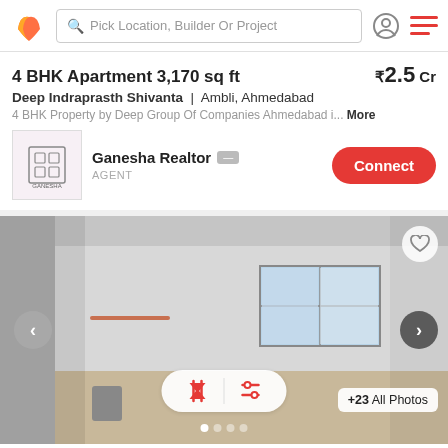Pick Location, Builder Or Project
4 BHK Apartment 3,170 sq ft | ₹2.5 Cr
Deep Indraprasth Shivanta | Ambli, Ahmedabad
4 BHK Property by Deep Group Of Companies Ahmedabad i... More
Ganesha Realtor AGENT
[Figure (photo): Interior photo of an empty apartment room with white walls, a window, and light floor]
+23 All Photos
4 BHK Apartment 4,000 sq ft | ₹3.69 Cr